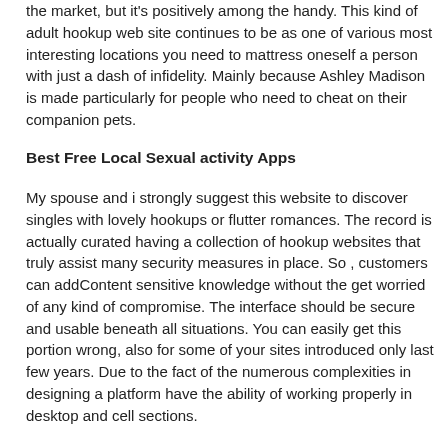the market, but it's positively among the handy. This kind of adult hookup web site continues to be as one of various most interesting locations you need to mattress oneself a person with just a dash of infidelity. Mainly because Ashley Madison is made particularly for people who need to cheat on their companion pets.
Best Free Local Sexual activity Apps
My spouse and i strongly suggest this website to discover singles with lovely hookups or flutter romances. The record is actually curated having a collection of hookup websites that truly assist many security measures in place. So , customers can addContent sensitive knowledge without the get worried of any kind of compromise. The interface should be secure and usable beneath all situations. You can easily get this portion wrong, also for some of your sites introduced only last few years. Due to the fact of the numerous complexities in designing a platform have the ability of working properly in desktop and cell sections.